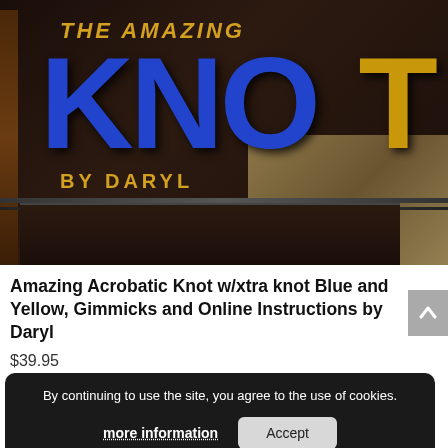[Figure (photo): A dark luxury box/book cover for 'The Amazing Knot by Daryl' with large blue letters 'KNO' and gold 'T' partially visible, gold text 'THE AMAZING' and 'BY DARYL', dark brown background with decorative book spine and golden manuscript texture visible behind the box.]
Amazing Acrobatic Knot w/xtra knot Blue and Yellow, Gimmicks and Online Instructions by Daryl
$39.95
By continuing to use the site, you agree to the use of cookies.
more information
Accept